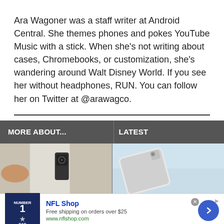Ara Wagoner was a staff writer at Android Central. She themes phones and pokes YouTube Music with a stick. When she's not writing about cases, Chromebooks, or customization, she's wandering around Walt Disney World. If you see her without headphones, RUN. You can follow her on Twitter at @arawagco.
MORE ABOUT...
LATEST
[Figure (photo): Photo of a Ring or similar video doorbell mounted on a wall]
[Figure (photo): Photo of a white tablet device against a light blue background]
NFL Shop
Free shipping on orders over $25
www.nflshop.com